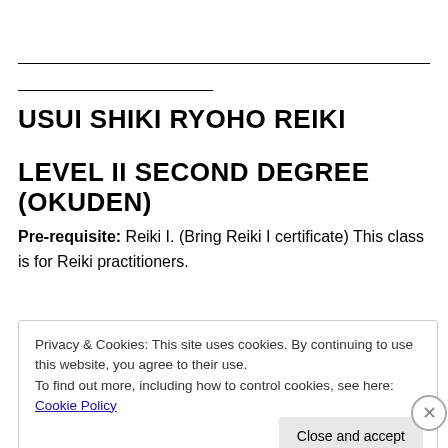USUI SHIKI RYOHO REIKI
LEVEL II SECOND DEGREE (OKUDEN)
Pre-requisite: Reiki I. (Bring Reiki I certificate) This class is for Reiki practitioners.
Privacy & Cookies: This site uses cookies. By continuing to use this website, you agree to their use. To find out more, including how to control cookies, see here: Cookie Policy